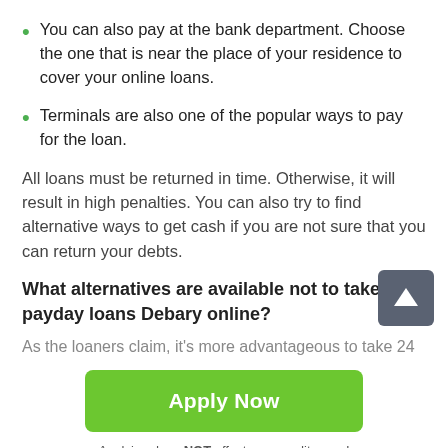You can also pay at the bank department. Choose the one that is near the place of your residence to cover your online loans.
Terminals are also one of the popular ways to pay for the loan.
All loans must be returned in time. Otherwise, it will result in high penalties. You can also try to find alternative ways to get cash if you are not sure that you can return your debts.
What alternatives are available not to take payday loans Debary online?
As the loaners claim, it's more advantageous to take 24
Apply Now
Applying does NOT affect your credit score!
No credit check to apply.